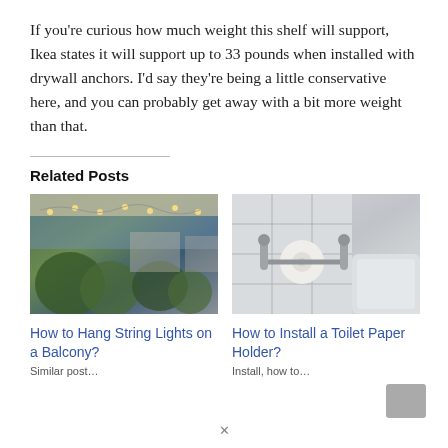If you're curious how much weight this shelf will support, Ikea states it will support up to 33 pounds when installed with drywall anchors. I'd say they're being a little conservative here, and you can probably get away with a bit more weight than that.
Related Posts
[Figure (photo): Photo of string lights hanging on a balcony or porch ceiling with plants visible below]
How to Hang String Lights on a Balcony?
[Figure (photo): Photo of a toilet paper holder mounted on a tiled wall near a toilet]
How to Install a Toilet Paper Holder?